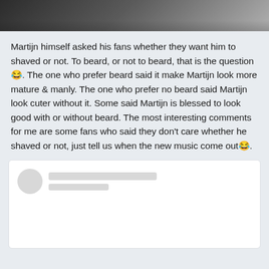[Figure (photo): Cropped top portion of an image showing a person, partially visible at the top of the page.]
Martijn himself asked his fans whether they want him to shaved or not. To beard, or not to beard, that is the question 😂. The one who prefer beard said it make Martijn look more mature & manly. The one who prefer no beard said Martijn look cuter without it. Some said Martijn is blessed to look good with or without beard. The most interesting comments for me are some fans who said they don't care whether he shaved or not, just tell us when the new music come out 😂.
[Figure (screenshot): A social media comment card with a blurred/anonymous profile showing a grey avatar circle and two grey placeholder bars for name and subtitle, with blank content area below.]